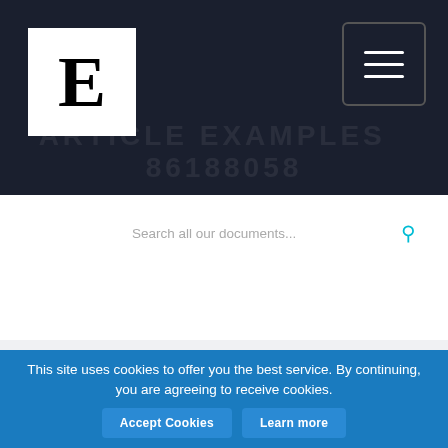[Figure (logo): White box with bold serif E logo on dark background header]
Search all our documents...
Home » article examples » 86188058
86188058
Article examples,
Words: 2161
Topics: Jack port,
Published: 04.08.20
This site uses cookies to offer you the best service. By continuing, you are agreeing to receive cookies.